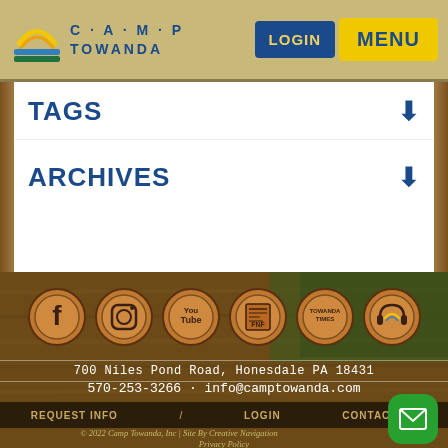CAMP TOWANDA | LOGIN | MENU
TAGS
ARCHIVES
[Figure (other): Social media icons row on wood background: Facebook, Instagram, YouTube, FNF, Towanda Times, headphone/radio icon]
700 Niles Pond Road, Honesdale PA 18431
570-253-3266 · info@camptowanda.com
REQUEST INFO / LOGIN CONTACT US
© 2022 Camp Towanda, Inc | Site By Creative Navigation
Privacy Policy